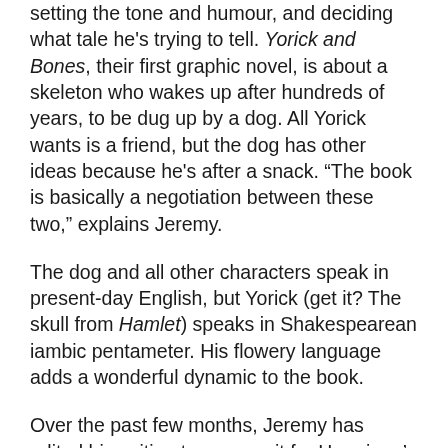setting the tone and humour, and deciding what tale he's trying to tell. Yorick and Bones, their first graphic novel, is about a skeleton who wakes up after hundreds of years, to be dug up by a dog. All Yorick wants is a friend, but the dog has other ideas because he's after a snack. "The book is basically a negotiation between these two," explains Jeremy.
The dog and all other characters speak in present-day English, but Yorick (get it? The skull from Hamlet) speaks in Shakespearean iambic pentameter. His flowery language adds a wonderful dynamic to the book.
Over the past few months, Jeremy has edited his writing to prepare it for Hermione's translation. In late June, he handed it over. "I haven't actually done a lot of the new stuff yet, but I reworked some of the stuff I wrote before, to make it better because what I wrote when I was 15 isn't good anymore," says Hermione. Her deadline to complete the translation is this summer